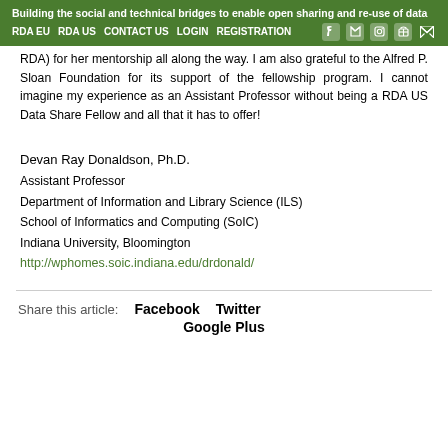Building the social and technical bridges to enable open sharing and re-use of data
RDA EU   RDA US   CONTACT US   LOGIN   REGISTRATION
RDA) for her mentorship all along the way. I am also grateful to the Alfred P. Sloan Foundation for its support of the fellowship program. I cannot imagine my experience as an Assistant Professor without being a RDA US Data Share Fellow and all that it has to offer!
Devan Ray Donaldson, Ph.D.
Assistant Professor
Department of Information and Library Science (ILS)
School of Informatics and Computing (SoIC)
Indiana University, Bloomington
http://wphomes.soic.indiana.edu/drdonald/
Share this article:   Facebook   Twitter
Google Plus